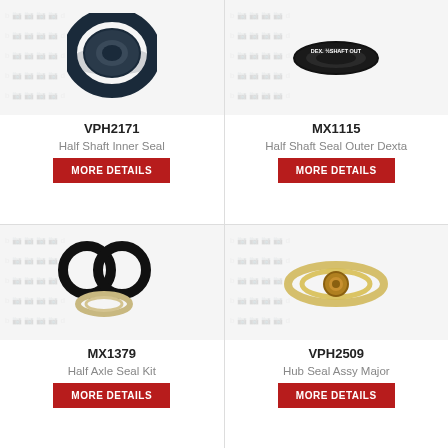[Figure (photo): Black rubber half shaft inner seal ring, top view on light background with watermark]
VPH2171
Half Shaft Inner Seal
MORE DETAILS
[Figure (photo): Black half shaft outer seal ring labeled 'DEX. 1/2 SHAFT OUTER' on light background with watermark]
MX1115
Half Shaft Seal Outer Dexta
MORE DETAILS
[Figure (photo): Two black O-rings and one beige seal ring for half axle seal kit on white background with watermark]
MX1379
Half Axle Seal Kit
MORE DETAILS
[Figure (photo): Hub seal assembly with gold/brass colored washers and central nut on white background with watermark]
VPH2509
Hub Seal Assy Major
MORE DETAILS